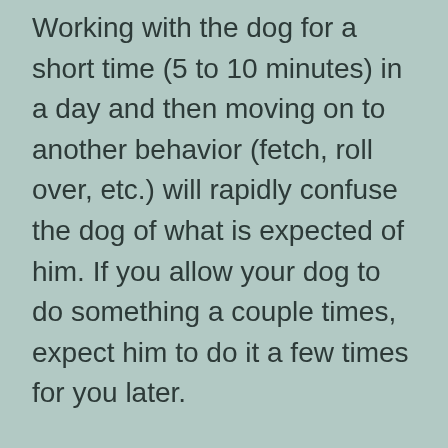Working with the dog for a short time (5 to 10 minutes) in a day and then moving on to another behavior (fetch, roll over, etc.) will rapidly confuse the dog of what is expected of him. If you allow your dog to do something a couple times, expect him to do it a few times for you later.
Remember, you need to teach yourself and your dog how to communicate with each other! spice up training with fun and interesting commands. If you do, you and your dog will have a lot more fun while you train together.
We are just as responsible for our dog's